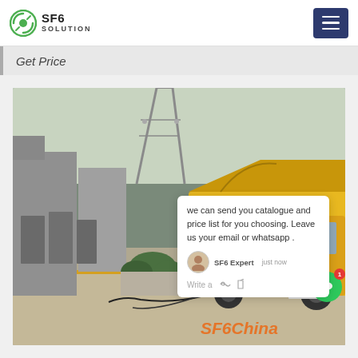SF6 SOLUTION
Get Price
[Figure (photo): A yellow Isuzu truck at an electrical substation facility with SF6 gas equipment. The truck has its cargo area open. Power transmission towers and electrical switchgear cabinets are visible in the background. A chat popup overlay is visible on the right side of the image with text: 'we can send you catalogue and price list for you choosing. Leave us your email or whatsapp .' An SF6China watermark appears in orange at the bottom right.]